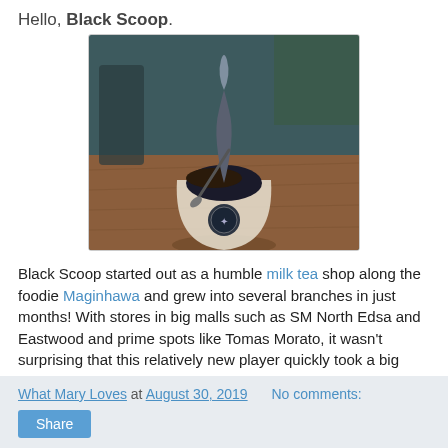Hello, Black Scoop.
[Figure (photo): A dark/black soft-serve ice cream in a clear cup with a spoon, sitting on a wooden table in a cafe setting. The cup has a circular logo.]
Black Scoop started out as a humble milk tea shop along the foodie Maginhawa and grew into several branches in just months! With stores in big malls such as SM North Edsa and Eastwood and prime spots like Tomas Morato, it wasn't surprising that this relatively new player quickly took a big chunk of the boba market.
What Mary Loves at August 30, 2019   No comments:   Share